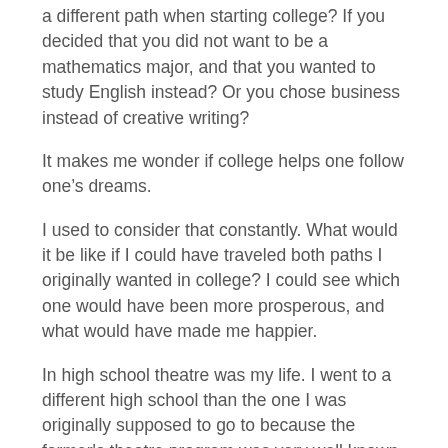a different path when starting college? If you decided that you did not want to be a mathematics major, and that you wanted to study English instead? Or you chose business instead of creative writing?
It makes me wonder if college helps one follow one’s dreams.
I used to consider that constantly. What would it be like if I could have traveled both paths I originally wanted in college? I could see which one would have been more prosperous, and what would have made me happier.
In high school theatre was my life. I went to a different high school than the one I was originally supposed to go to because the former's theatre program was very well known.
Instead of spending my evenings at home, I spent my evenings painting sets at long rehearsals.
I started my homework at midnight when I finally got home, and I was constantly skipping lunch to get in extra hours painting and rehearsing.